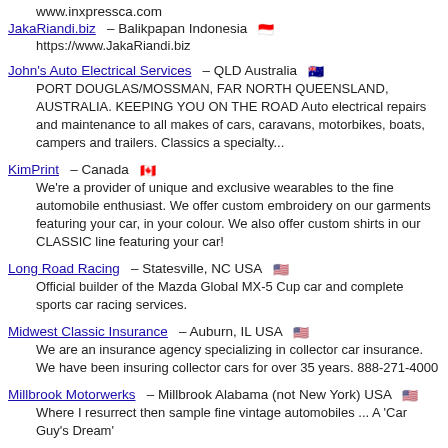www.inxpressca.com
JakaRiandi.biz – Balikpapan Indonesia
https://www.JakaRiandi.biz
John's Auto Electrical Services – QLD Australia
PORT DOUGLAS/MOSSMAN, FAR NORTH QUEENSLAND, AUSTRALIA. KEEPING YOU ON THE ROAD Auto electrical repairs and maintenance to all makes of cars, caravans, motorbikes, boats, campers and trailers. Classics a specialty...
KimPrint – Canada
We're a provider of unique and exclusive wearables to the fine automobile enthusiast. We offer custom embroidery on our garments featuring your car, in your colour. We also offer custom shirts in our CLASSIC line featuring your car!
Long Road Racing – Statesville, NC USA
Official builder of the Mazda Global MX-5 Cup car and complete sports car racing services.
Midwest Classic Insurance – Auburn, IL USA
We are an insurance agency specializing in collector car insurance. We have been insuring collector cars for over 35 years. 888-271-4000
Millbrook Motorwerks – Millbrook Alabama (not New York) USA
Where I resurrect then sample fine vintage automobiles ... A 'Car Guy's Dream'
Powder Coating Services – 4 Tabas Lane, Exton, PA 19341 USA
We provide paint stripping, abrasive blasting and powder coating services and high temperature coatings for parts up to 25 feet with